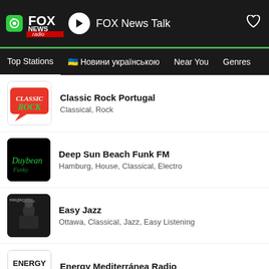FOX News Talk
Top Stations  🇺🇦 Новини українською  Near You  Genres
Classic Rock Portugal — Classical, Rock
Deep Sun Beach Funk FM — Hamburg, House, Classical, Electro
Easy Jazz — Ottawa, Classical, Jazz, Easy Listening
Energy Mediterránea Radio — Madrid, Hits, Classical, Funk